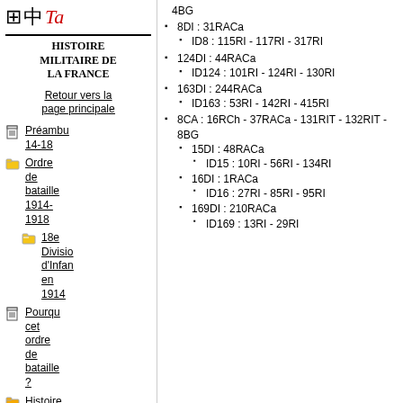Histoire militaire de la France
Retour vers la page principale
Préambu 14-18
Ordre de bataille 1914-1918
18e Division d'Infanterie en 1914
Pourquoi cet ordre de bataille ?
Histoire des...
4BG
• 8DI : 31RACa
  • ID8 : 115RI - 117RI - 317RI
• 124DI : 44RACa
  • ID124 : 101RI - 124RI - 130RI
• 163DI : 244RACa
  • ID163 : 53RI - 142RI - 415RI
• 8CA : 16RCh - 37RACa - 131RIT - 132RIT - 8BG
  • 15DI : 48RACa
    • ID15 : 10RI - 56RI - 134RI
  • 16DI : 1RACa
    • ID16 : 27RI - 85RI - 95RI
  • 169DI : 210RACa
    • ID169 : 13RI - 29RI